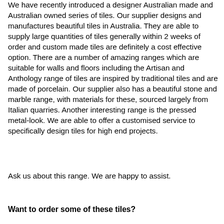We have recently introduced a designer Australian made and Australian owned series of tiles.  Our supplier designs and manufactures beautiful tiles in Australia.  They are able to supply large quantities of tiles generally within 2 weeks of order and custom made tiles are definitely a cost effective option. There are a number of amazing ranges which are suitable for walls and floors including the Artisan and Anthology range of tiles are inspired by traditional tiles and are made of porcelain. Our supplier also has a beautiful stone and marble range, with materials for these, sourced largely from Italian quarries. Another interesting range is the pressed metal-look.  We are able to offer a customised service to specifically design tiles for high end projects.
Ask us about this range.  We are happy to assist.
Want to order some of these tiles?